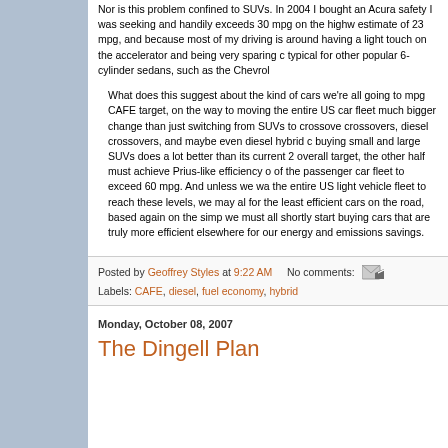Nor is this problem confined to SUVs. In 2004 I bought an Acura safety I was seeking and handily exceeds 30 mpg on the highway estimate of 23 mpg, and because most of my driving is around having a light touch on the accelerator and being very sparing c typical for other popular 6-cylinder sedans, such as the Chevrol
What does this suggest about the kind of cars we're all going to mpg CAFE target, on the way to moving the entire US car fleet much bigger change than just switching from SUVs to crossove crossovers, diesel crossovers, and maybe even diesel hybrid c buying small and large SUVs does a lot better than its current 2 overall target, the other half must achieve Prius-like efficiency o of the passenger car fleet to exceed 60 mpg. And unless we wa the entire US light vehicle fleet to reach these levels, we may al for the least efficient cars on the road, based again on the simp we must all shortly start buying cars that are truly more efficient elsewhere for our energy and emissions savings.
Posted by Geoffrey Styles at 9:22 AM    No comments:
Labels: CAFE, diesel, fuel economy, hybrid
Monday, October 08, 2007
The Dingell Plan